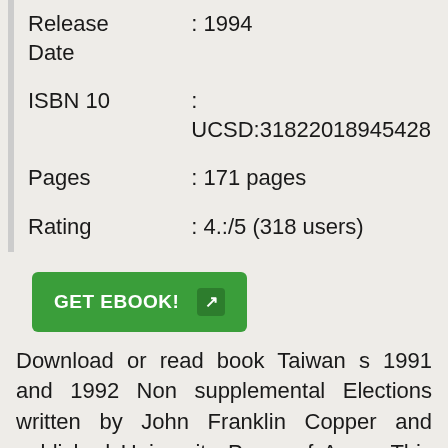| Release Date | : 1994 |
| ISBN 10 | : UCSD:31822018945428 |
| Pages | : 171 pages |
| Rating | : 4.:/5 (318 users) |
GET EBOOK!
Download or read book Taiwan s 1991 and 1992 Non supplemental Elections written by John Franklin Copper and published University Press of Amer. This book was released on 1994 with total page 171